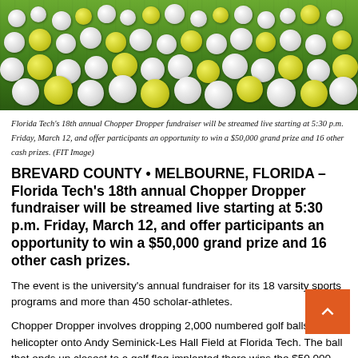[Figure (photo): Golf balls scattered across green grass field — promotional image for Chopper Dropper fundraiser]
Florida Tech's 18th annual Chopper Dropper fundraiser will be streamed live starting at 5:30 p.m. Friday, March 12, and offer participants an opportunity to win a $50,000 grand prize and 16 other cash prizes. (FIT Image)
BREVARD COUNTY • MELBOURNE, FLORIDA – Florida Tech's 18th annual Chopper Dropper fundraiser will be streamed live starting at 5:30 p.m. Friday, March 12, and offer participants an opportunity to win a $50,000 grand prize and 16 other cash prizes.
The event is the university's annual fundraiser for its 18 varsity sports programs and more than 450 scholar-athletes.
Chopper Dropper involves dropping 2,000 numbered golf balls from a helicopter onto Andy Seminick-Les Hall Field at Florida Tech. The ball that ends up closest to a golf flag implanted there wins the $50,000 grand prize. There is also a $10,000 second prize and 15 $1,000 prizes, as well.